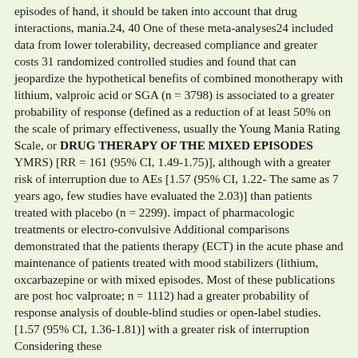episodes of hand, it should be taken into account that drug interactions, mania.24, 40 One of these meta-analyses24 included data from lower tolerability, decreased compliance and greater costs 31 randomized controlled studies and found that can jeopardize the hypothetical benefits of combined monotherapy with lithium, valproic acid or SGA (n = 3798) is associated to a greater probability of response (defined as a reduction of at least 50% on the scale of primary effectiveness, usually the Young Mania Rating Scale, or DRUG THERAPY OF THE MIXED EPISODES YMRS) [RR = 161 (95% CI, 1.49-1.75)], although with a greater risk of interruption due to AEs [1.57 (95% CI, 1.22- The same as 7 years ago, few studies have evaluated the 2.03)] than patients treated with placebo (n = 2299). impact of pharmacologic treatments or electro-convulsive Additional comparisons demonstrated that the patients therapy (ECT) in the acute phase and maintenance of patients treated with mood stabilizers (lithium, oxcarbazepine or with mixed episodes. Most of these publications are post hoc valproate; n = 1112) had a greater probability of response analysis of double-blind studies or open-label studies. [1.57 (95% CI, 1.36-1.81)] with a greater risk of interruption Considering these